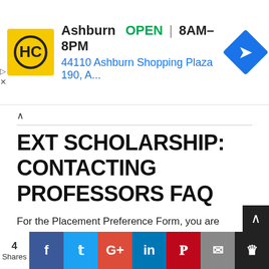[Figure (infographic): Advertisement banner for HC (Harris Country/Hari's Corner) store in Ashburn, showing logo, OPEN status, hours 8AM-8PM, and address 44110 Ashburn Shopping Plaza 190, A...]
EXT SCHOLARSHIP: CONTACTING PROFESSORS FAQ
For the Placement Preference Form, you are expected to list three universities and three professors that you want to study with. I've written before that you do not need professors' permission to list them on this form, but I still get a lot of questions about it.
I've answered some of the most common questions below and will keep this page up to date with new...